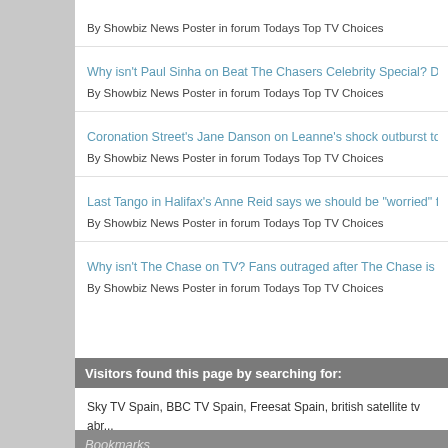By Showbiz News Poster in forum Todays Top TV Choices
Why isn't Paul Sinha on Beat The Chasers Celebrity Special? Darn... By Showbiz News Poster in forum Todays Top TV Choices
Coronation Street's Jane Danson on Leanne's shock outburst to Si... By Showbiz News Poster in forum Todays Top TV Choices
Last Tango in Halifax's Anne Reid says we should be "worried" for ... By Showbiz News Poster in forum Todays Top TV Choices
Why isn't The Chase on TV? Fans outraged after The Chase is rep... By Showbiz News Poster in forum Todays Top TV Choices
Visitors found this page by searching for:
Sky TV Spain, BBC TV Spain, Freesat Spain, british satellite tv abr... tv channels, sky tv, costa blanca satellite tv, satellite tv costa blanca, sky tv gandia, sky tv costa blanca, high definition, Sky TV Oliva, as... asta 2f, astra 2g, astra 2e, eurobird, satellite footprints, satellite rec... boxes in spain, uktv costa blanca,
Bookmarks